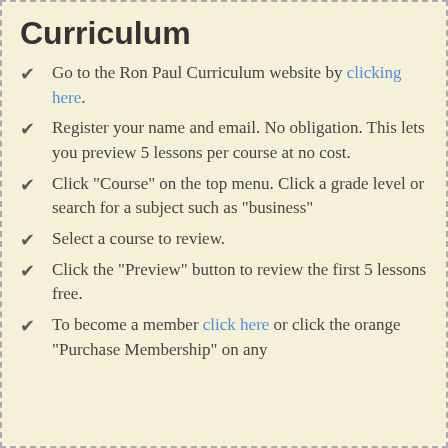Curriculum
Go to the Ron Paul Curriculum website by clicking here.
Register your name and email. No obligation. This lets you preview 5 lessons per course at no cost.
Click "Course" on the top menu. Click a grade level or search for a subject such as "business"
Select a course to review.
Click the "Preview" button to review the first 5 lessons free.
To become a member click here or click the orange "Purchase Membership" on any